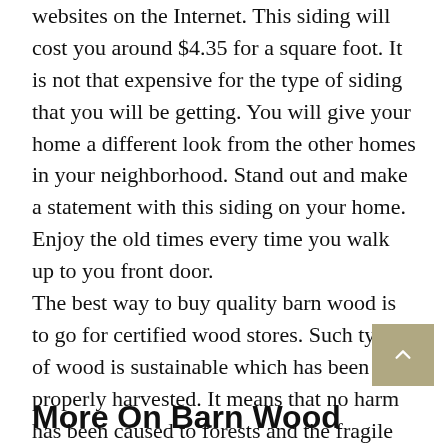websites on the Internet. This siding will cost you around $4.35 for a square foot. It is not that expensive for the type of siding that you will be getting. You will give your home a different look from the other homes in your neighborhood. Stand out and make a statement with this siding on your home. Enjoy the old times every time you walk up to you front door. The best way to buy quality barn wood is to go for certified wood stores. Such type of wood is sustainable which has been properly harvested. It means that no harm has been caused to forests and the fragile ecosystem hasn't been compromised with. You should make sure the store you buy from follows the law always. You can also go online and search for the most reputable stores or companies that offers barn wood.
More On Barn Wood